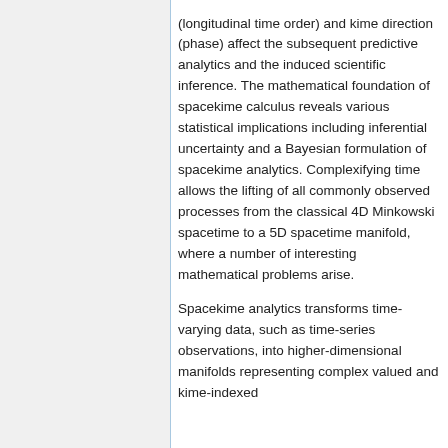(longitudinal time order) and kime direction (phase) affect the subsequent predictive analytics and the induced scientific inference. The mathematical foundation of spacekime calculus reveals various statistical implications including inferential uncertainty and a Bayesian formulation of spacekime analytics. Complexifying time allows the lifting of all commonly observed processes from the classical 4D Minkowski spacetime to a 5D spacetime manifold, where a number of interesting mathematical problems arise.
Spacekime analytics transforms time-varying data, such as time-series observations, into higher-dimensional manifolds representing complex valued and kime-indexed